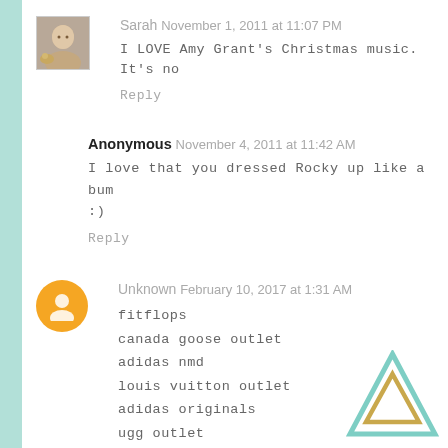Sarah  November 1, 2011 at 11:07 PM
I LOVE Amy Grant's Christmas music. It's no
Reply
Anonymous  November 4, 2011 at 11:42 AM
I love that you dressed Rocky up like a bum
:)
Reply
Unknown  February 10, 2017 at 1:31 AM
fitflops
canada goose outlet
adidas nmd
louis vuitton outlet
adidas originals
ugg outlet
michael kors outlet online
cheap jordan shoes
louis vuitton belt
[Figure (logo): Triangle logo with teal outline and gold inner triangle]